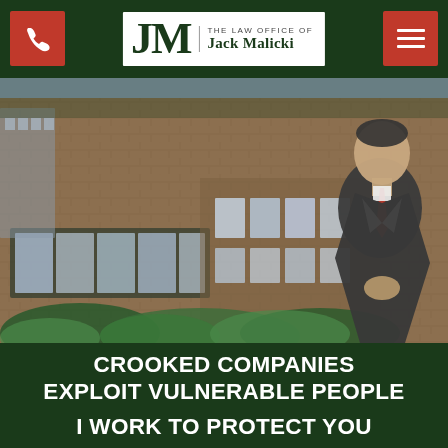The Law Office of Jack Malicki
[Figure (photo): A professional man in a dark suit and red tie standing in front of a brick building with large windows and green ivy, positioned to the right side of the image]
CROOKED COMPANIES EXPLOIT VULNERABLE PEOPLE
I WORK TO PROTECT YOU